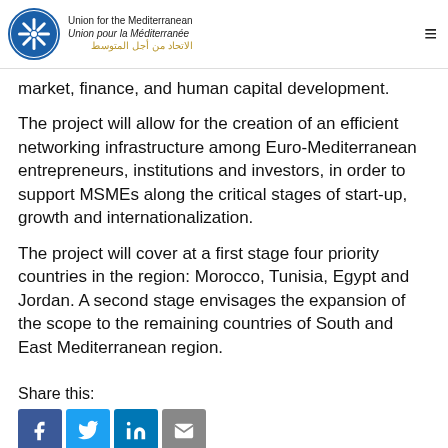Union for the Mediterranean / Union pour la Méditerranée / الاتحاد من أجل المتوسط
market, finance, and human capital development.
The project will allow for the creation of an efficient networking infrastructure among Euro-Mediterranean entrepreneurs, institutions and investors, in order to support MSMEs along the critical stages of start-up, growth and internationalization.
The project will cover at a first stage four priority countries in the region: Morocco, Tunisia, Egypt and Jordan. A second stage envisages the expansion of the scope to the remaining countries of South and East Mediterranean region.
Share this:
[Figure (other): Social media sharing buttons: Facebook, Twitter, LinkedIn, Email]